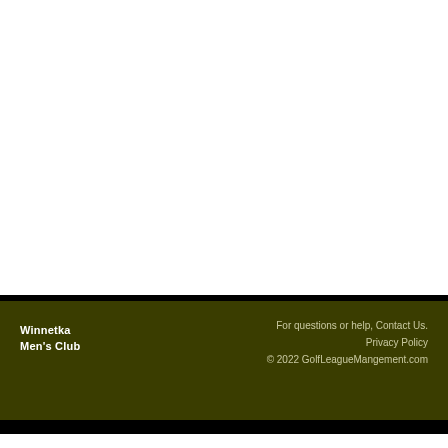Winnetka Men's Club
For questions or help, Contact Us.
Privacy Policy
© 2022 GolfLeagueMangement.com